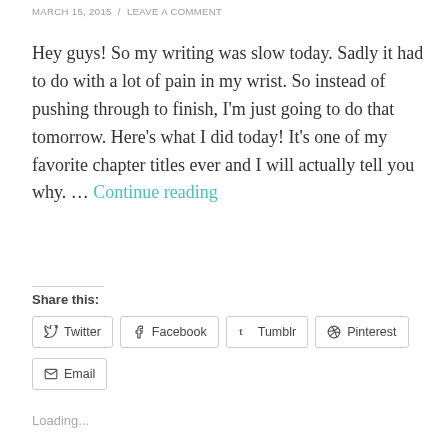MARCH 15, 2015 / LEAVE A COMMENT
Hey guys! So my writing was slow today. Sadly it had to do with a lot of pain in my wrist. So instead of pushing through to finish, I'm just going to do that tomorrow. Here's what I did today! It's one of my favorite chapter titles ever and I will actually tell you why. … Continue reading
Share this:
Twitter  Facebook  Tumblr  Pinterest  Email
Loading...